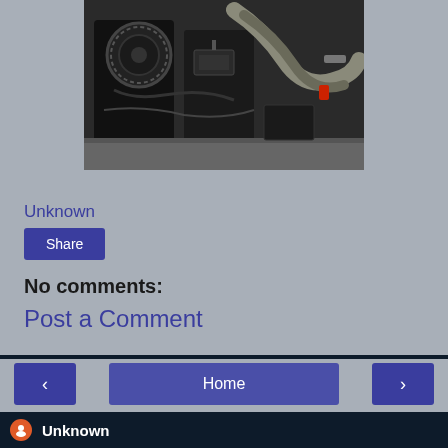[Figure (photo): Close-up photo of a vehicle engine with pipes, alternator, and mechanical components visible]
Unknown
Share
No comments:
Post a Comment
Home
View web version
Unknown